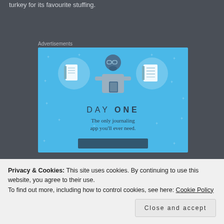turkey for its favourite stuffing.
Advertisements
[Figure (illustration): Day One journaling app advertisement on a light blue background. Shows three circular icons with notebook and list illustrations, a central character holding a phone, with text 'DAY ONE' and 'The only journaling app you'll ever need.']
Privacy & Cookies: This site uses cookies. By continuing to use this website, you agree to their use.
To find out more, including how to control cookies, see here: Cookie Policy
Close and accept
brown eyes, while Joe stayed silent.